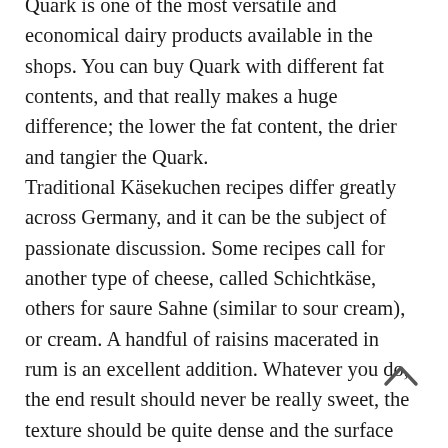Quark is one of the most versatile and economical dairy products available in the shops. You can buy Quark with different fat contents, and that really makes a huge difference; the lower the fat content, the drier and tangier the Quark. Traditional Käsekuchen recipes differ greatly across Germany, and it can be the subject of passionate discussion. Some recipes call for another type of cheese, called Schichtkäse, others for saure Sahne (similar to sour cream), or cream. A handful of raisins macerated in rum is an excellent addition. Whatever you do, the end result should never be really sweet, the texture should be quite dense and the surface well browned. As for the crust – shortcrust pastry is traditional. There's nothing dainty about a proper